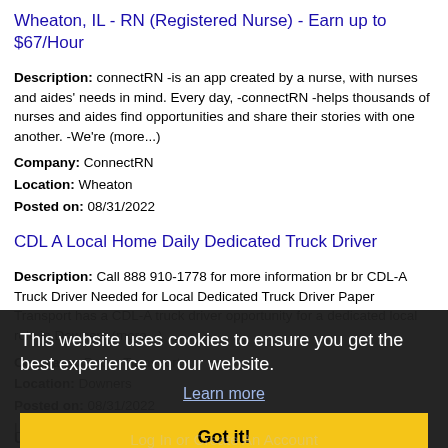Wheaton, IL - RN (Registered Nurse) - Earn up to $67/Hour
Description: connectRN -is an app created by a nurse, with nurses and aides' needs in mind. Every day, -connectRN -helps thousands of nurses and aides find opportunities and share their stories with one another. -We're (more...)
Company: ConnectRN
Location: Wheaton
Posted on: 08/31/2022
CDL A Local Home Daily Dedicated Truck Driver
Description: Call 888 910-1778 for more information br br CDL-A Truck Driver Needed for Local Dedicated Truck Driver Paper Transport has a CDL-A truck driver opportunity for a dedicated local role in Downers (more...)
Company: Paper Transport
Location: Downers
Posted on: 08/31/2022
Loading more jobs...
This website uses cookies to ensure you get the best experience on our website.
Learn more
Got it!
Log In or Create An Account
Username: